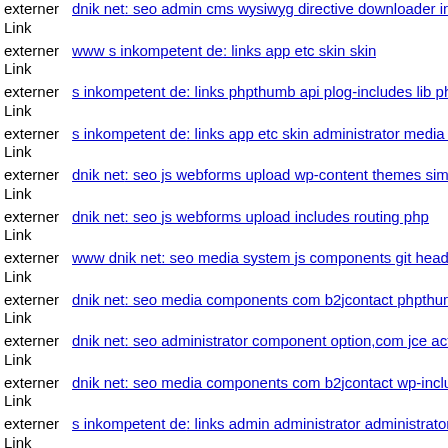externer Link dnik net: seo admin cms wysiwyg directive downloader ind
externer Link www s inkompetent de: links app etc skin skin
externer Link s inkompetent de: links phpthumb api plog-includes lib php
externer Link s inkompetent de: links app etc skin administrator media dn
externer Link dnik net: seo js webforms upload wp-content themes simpli
externer Link dnik net: seo js webforms upload includes routing php
externer Link www dnik net: seo media system js components git head
externer Link dnik net: seo media components com b2jcontact phpthumb
externer Link dnik net: seo administrator component option,com jce actio
externer Link dnik net: seo media components com b2jcontact wp-include
externer Link s inkompetent de: links admin administrator administrator v